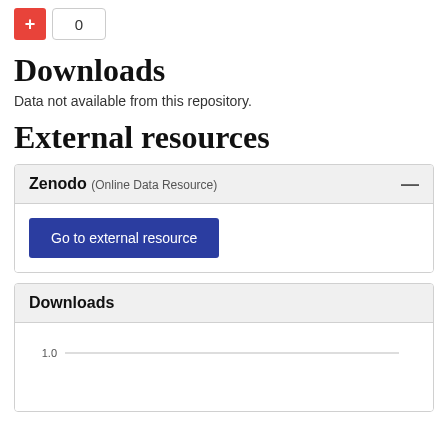[Figure (other): Red plus button and count box showing 0]
Downloads
Data not available from this repository.
External resources
Zenodo (Online Data Resource)
Go to external resource
Downloads
[Figure (line-chart): Line chart of downloads with y-axis label 1.0]